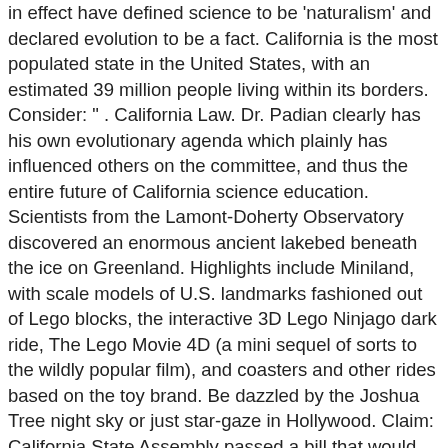in effect have defined science to be 'naturalism' and declared evolution to be a fact. California is the most populated state in the United States, with an estimated 39 million people living within its borders. Consider: " . California Law. Dr. Padian clearly has his own evolutionary agenda which plainly has influenced others on the committee, and thus the entire future of California science education. Scientists from the Lamont-Doherty Observatory discovered an enormous ancient lakebed beneath the ice on Greenland. Highlights include Miniland, with scale models of U.S. landmarks fashioned out of Lego blocks, the interactive 3D Lego Ninjago dark ride, The Lego Movie 4D (a mini sequel of sorts to the wildly popular film), and coasters and other rides based on the toy brand. Be dazzled by the Joshua Tree night sky or just star-gaze in Hollywood. Claim: California State Assembly passed a bill that would ban the sale of the Bible. 27 Followers, 509 Following, 73 Posts - See Instagram photos and videos from California Gods (@california_gods) Fishing Licenses and Report Cards, ima-mini-cookie, Why